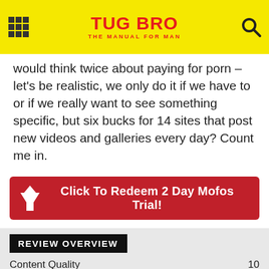TUG BRO — THE MANUAL FOR MAN
would think twice about paying for porn – let's be realistic, we only do it if we have to or if we really want to see something specific, but six bucks for 14 sites that post new videos and galleries every day? Count me in.
[Figure (other): Red call-to-action button with dress icon: Click To Redeem 2 Day Mofos Trial!]
REVIEW OVERVIEW
[Figure (bar-chart): Review Overview]